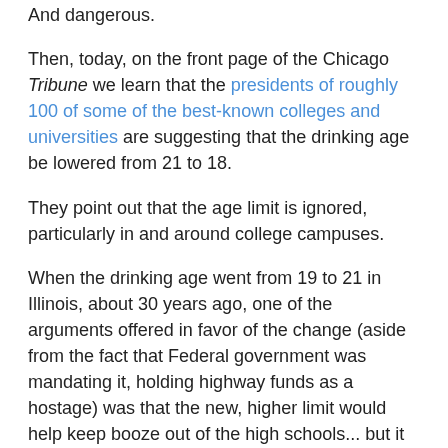And dangerous.
Then, today, on the front page of the Chicago Tribune we learn that the presidents of roughly 100 of some of the best-known colleges and universities are suggesting that the drinking age be lowered from 21 to 18.
They point out that the age limit is ignored, particularly in and around college campuses.
When the drinking age went from 19 to 21 in Illinois, about 30 years ago, one of the arguments offered in favor of the change (aside from the fact that Federal government was mandating it, holding highway funds as a hostage) was that the new, higher limit would help keep booze out of the high schools... but it wasn't really intended to interfere much with the college kids.
I personally do not believe we should ever pass a law we do not want or intend to really enforce. It breeds cynicism and contempt for all laws.
The college presidents also point out that they have